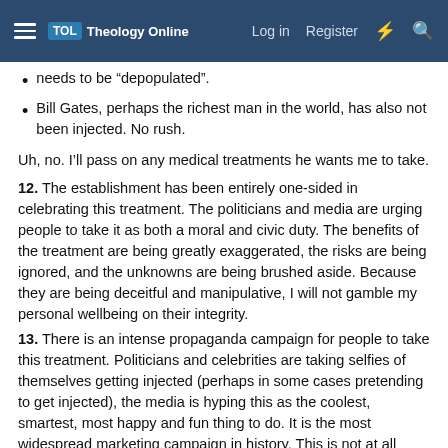TOL Theology Online  Log in  Register
needs to be “depopulated”.
Bill Gates, perhaps the richest man in the world, has also not been injected. No rush.
Uh, no. I’ll pass on any medical treatments he wants me to take.
12. The establishment has been entirely one-sided in celebrating this treatment. The politicians and media are urging people to take it as both a moral and civic duty. The benefits of the treatment are being greatly exaggerated, the risks are being ignored, and the unknowns are being brushed aside. Because they are being deceitful and manipulative, I will not gamble my personal wellbeing on their integrity.
13. There is an intense propaganda campaign for people to take this treatment. Politicians and celebrities are taking selfies of themselves getting injected (perhaps in some cases pretending to get injected), the media is hyping this as the coolest, smartest, most happy and fun thing to do. It is the most widespread marketing campaign in history. This is not at all appropriate for any medical treatment, let alone a brand new